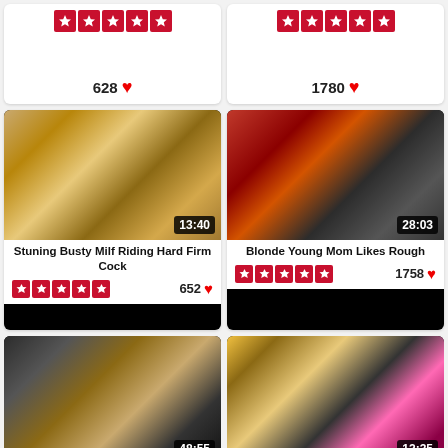[Figure (screenshot): Partial top card left: 5-star rating and 628 likes]
[Figure (screenshot): Partial top card right: 5-star rating and 1780 likes]
[Figure (screenshot): Video thumbnail: Stuning Busty Milf Riding Hard Firm Cock, duration 13:40, 5-star rating, 652 likes]
[Figure (screenshot): Video thumbnail: Blonde Young Mom Likes Rough, duration 28:03, 5-star rating, 1758 likes]
[Figure (screenshot): Partial bottom video card left, duration 48:55]
[Figure (screenshot): Partial bottom video card right, duration 12:35]